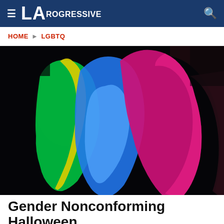LA Progressive
HOME > LGBTQ
[Figure (photo): Multiple overlapping profile silhouettes of a face lit with colorful neon lights — green, yellow, blue, and magenta/pink — against a dark black background, creating a layered chromatic effect.]
Gender Nonconforming Halloween